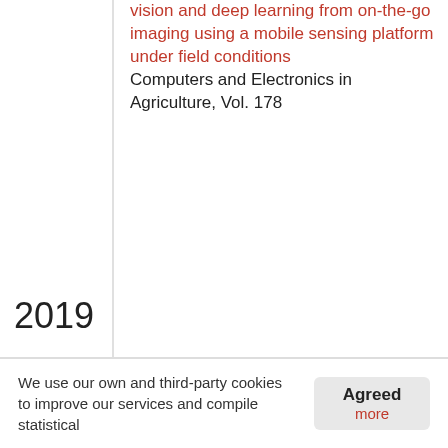vision and deep learning from on-the-go imaging using a mobile sensing platform under field conditions
Computers and Electronics in Agriculture, Vol. 178
2019
Hyperspectral imaging application under field conditions: Assessment of the spatio-temporal variability of grape composition within a vineyard
Precision Agriculture 2019 - Papers Presented at the 12th European Conference on Precision Agriculture, ECPA 2019
We use our own and third-party cookies to improve our services and compile statistical